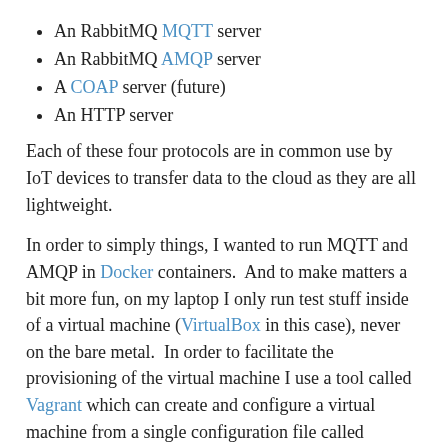An RabbitMQ MQTT server
An RabbitMQ AMQP server
A COAP server (future)
An HTTP server
Each of these four protocols are in common use by IoT devices to transfer data to the cloud as they are all lightweight.
In order to simply things, I wanted to run MQTT and AMQP in Docker containers. And to make matters a bit more fun, on my laptop I only run test stuff inside of a virtual machine (VirtualBox in this case), never on the bare metal. In order to facilitate the provisioning of the virtual machine I use a tool called Vagrant which can create and configure a virtual machine from a single configuration file called “Vagrantfile”.
Nicholas, my son, always comes in my office and